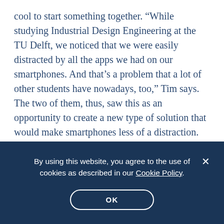cool to start something together. “While studying Industrial Design Engineering at the TU Delft, we noticed that we were easily distracted by all the apps we had on our smartphones. And that’s a problem that a lot of other students have nowadays, too,” Tim says. The two of them, thus, saw this as an opportunity to create a new type of solution that would make smartphones less of a distraction.
And so, their entrepreneurial journey began.
“We first took on a six-month program at the
By using this website, you agree to the use of cookies as described in our Cookie Policy.
OK